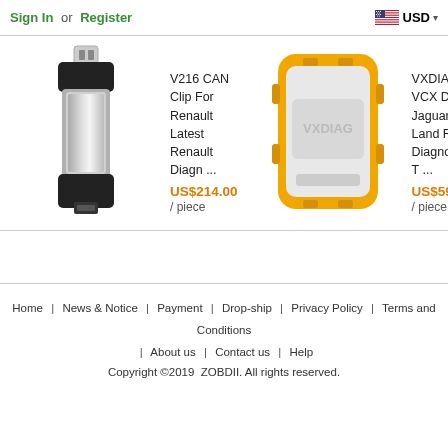Sign In or Register | USD
[Figure (photo): V216 CAN Clip USB dongle device with black plastic housing and silver metallic cylinder body]
V216 CAN Clip For Renault Latest Renault Diagn ...
US$214.00 / piece
[Figure (photo): VXDIAG VCX DoIP diagnostic tool with yellow rubber casing and white body with VXDIAG logo]
VXDIAG VCX DoIP Jaguar Land Rover Diagnostic T ...
US$599.00 / piece
Home | News & Notice | Payment | Drop-ship | Privacy Policy | Terms and Conditions | About us | Contact us | Help
Copyright ©2019 ZOBDII. All rights reserved.